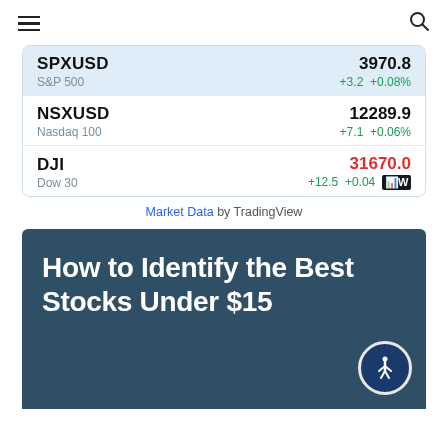Navigation bar with hamburger menu and search icon
| Ticker/Index | Price | Change |
| --- | --- | --- |
| SPXUSD / S&P 500 | 3970.8 | +3.2 +0.08% |
| NSXUSD / Nasdaq 100 | 12289.9 | +7.1 +0.06% |
| DJI / Dow 30 | 31670.0 | +12.5 +0.04% |
Market Data by TradingView
How to Identify the Best Stocks Under $15